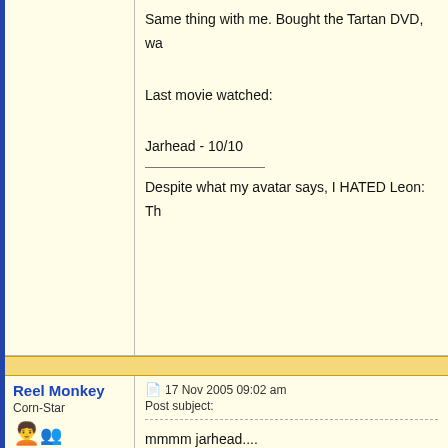Same thing with me. Bought the Tartan DVD, wa...
Last movie watched:
Jarhead - 10/10
Despite what my avatar says, I HATED Leon: Th...
Reel Monkey
Corn-Star
Joined: 03 Oct 2003
Posts: 1121
17 Nov 2005 09:02 am
Post subject:
mmmm jarhead....
Ham Sandwich
Review Team Member
Joined: 02 Jan 2005
Location: Georgia
Posts: 60
17 Nov 2005 06:06 pm
Post subject:
Reel Monkey wrote:
mmmm jarhead....
I know who I'll be rooting for come Oscars time.